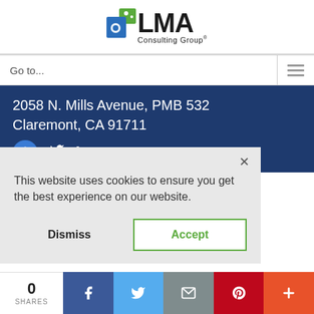[Figure (logo): LMA Consulting Group logo with green and blue icon and text 'LMA Consulting Group']
Go to...
2058 N. Mills Avenue, PMB 532
Claremont, CA 91711
[Figure (infographic): Social media icons: accessibility, Twitter, LinkedIn on dark blue background]
This website uses cookies to ensure you get the best experience on our website.
Dismiss
Accept
0
SHARES
[Figure (infographic): Social share bar with Facebook, Twitter, Email, Pinterest, and More buttons]